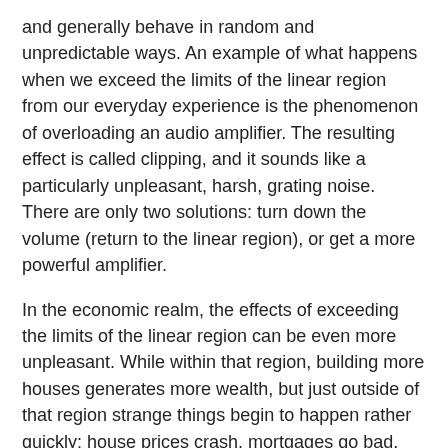and generally behave in random and unpredictable ways. An example of what happens when we exceed the limits of the linear region from our everyday experience is the phenomenon of overloading an audio amplifier. The resulting effect is called clipping, and it sounds like a particularly unpleasant, harsh, grating noise. There are only two solutions: turn down the volume (return to the linear region), or get a more powerful amplifier.
In the economic realm, the effects of exceeding the limits of the linear region can be even more unpleasant. While within that region, building more houses generates more wealth, but just outside of that region strange things begin to happen rather quickly: house prices crash, mortgages go bad, and building any more houses becomes a singularly bad idea. In the linear region, having more money makes you richer, in the sense of being able to buy more stuff, but outside of that region one is forced to realize that since most money has been loaned into existence, it is in fact composed of debt, and once this debt goes bad, no matter how good your net worth looks on paper you are still facing destitution, greatly exacerbated by the fact that you are out of practice when it